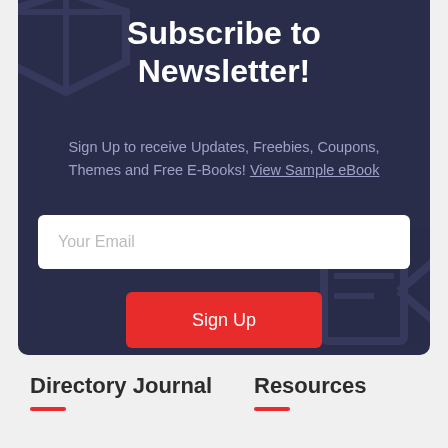Subscribe to Newsletter!
Sign Up to receive Updates, Freebies, Coupons, Themes and Free E-Books! View Sample eBook
Your Email
Sign Up
Directory Journal
Resources